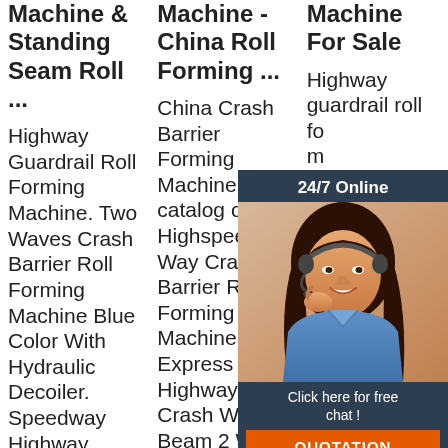Machine & Standing Seam Roll ...
Machine - China Roll Forming ...
Machine For Sale
Highway Guardrail Roll Forming Machine. Two Waves Crash Barrier Roll Forming Machine Blue Color With Hydraulic Decoiler. Speedway Highway Guardrail Roll
China Crash Barrier Forming Machine catalog of Highspeed Way Crash Barrier Roll Forming Machine, Express Highway Crash W Beam 2 Wave Guardrail Roll Barrier Forming
Highway guardrail roll forming machine de pr sh g 2 p side of a highway or highway. Feature of Guardrail Roll
[Figure (photo): Chat widget with woman wearing headset, '24/7 Online' header, 'Click here for free chat!' text, orange QUOTATION button, and TOP logo with orange dots]
24/7 Online
Click here for free chat!
QUOTATION